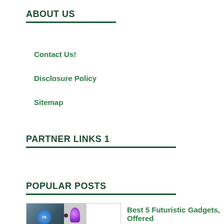ABOUT US
Contact Us!
Disclosure Policy
Sitemap
PARTNER LINKS 1
POPULAR POSTS
Best 5 Futuristic Gadgets, Offered